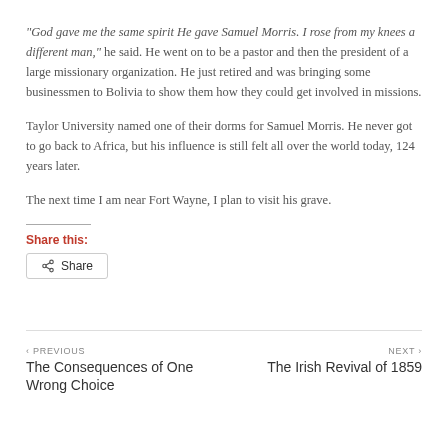“God gave me the same spirit He gave Samuel Morris. I rose from my knees a different man,” he said. He went on to be a pastor and then the president of a large missionary organization. He just retired and was bringing some businessmen to Bolivia to show them how they could get involved in missions.
Taylor University named one of their dorms for Samuel Morris. He never got to go back to Africa, but his influence is still felt all over the world today, 124 years later.
The next time I am near Fort Wayne, I plan to visit his grave.
Share this:
Share
‹ PREVIOUS
The Consequences of One Wrong Choice
NEXT ›
The Irish Revival of 1859